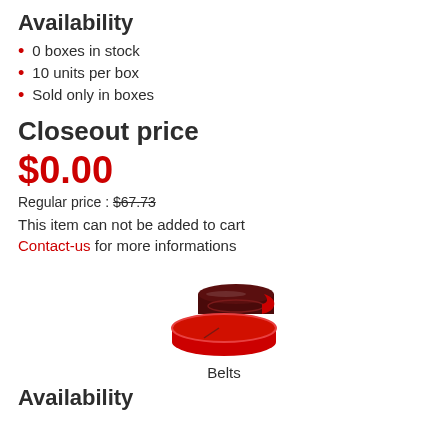Availability
0 boxes in stock
10 units per box
Sold only in boxes
Closeout price
$0.00
Regular price : $67.73
This item can not be added to cart
Contact-us for more informations
[Figure (illustration): Icon of red and dark brown abrasive belts stacked/coiled]
Belts
Availability